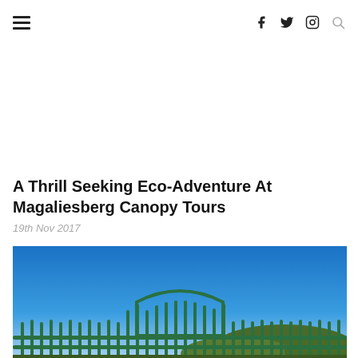[hamburger menu] [social icons: f, twitter, instagram, search]
A Thrill Seeking Eco-Adventure At Magaliesberg Canopy Tours
19th Nov 2017
[Figure (photo): Outdoor photo showing bright blue sky and the top of a green metal fence/gate with hills and trees in the background]